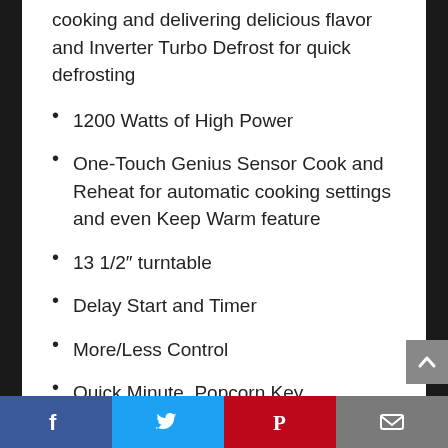cooking and delivering delicious flavor and Inverter Turbo Defrost for quick defrosting
1200 Watts of High Power
One-Touch Genius Sensor Cook and Reheat for automatic cooking settings and even Keep Warm feature
13 1/2″ turntable
Delay Start and Timer
More/Less Control
Quick Minute, Popcorn Key
Measures 15 13/16″ (D) x 20 11/16″